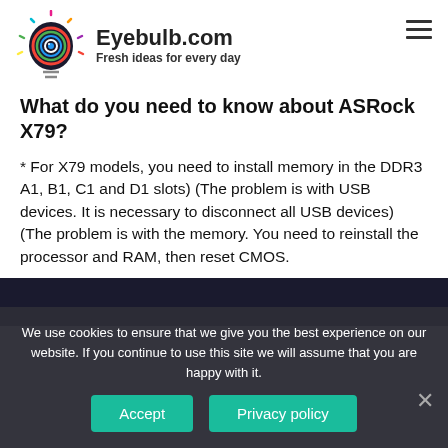[Figure (logo): Eyebulb.com logo: a light bulb with a colorful circular eye design and rays]
Eyebulb.com
Fresh ideas for every day
What do you need to know about ASRock X79?
* For X79 models, you need to install memory in the DDR3 A1, B1, C1 and D1 slots) (The problem is with USB devices. It is necessary to disconnect all USB devices) (The problem is with the memory. You need to reinstall the processor and RAM, then reset CMOS.
[Figure (screenshot): Dark blue/black image strip partially visible]
We use cookies to ensure that we give you the best experience on our website. If you continue to use this site we will assume that you are happy with it.